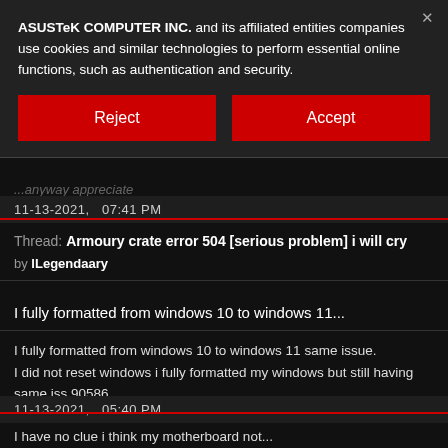ASUSTeK COMPUTER INC. and its affiliated entities companies use cookies and similar technologies to perform essential online functions, such as authentication and security.
Reject
Accept
...anyway appreciate
11-13-2021,   07:41 PM
Thread: Armoury crate error 504 [serious problem] i will cry
by lLegendaary
I fully formatted from windows 10 to windows 11...
I fully formatted from windows 10 to windows 11 same issue.
I did not reset windows i fully formatted my windows but still having same iss 90586

I have no clue i think my motherboard not...
11-13-2021,   05:40 PM